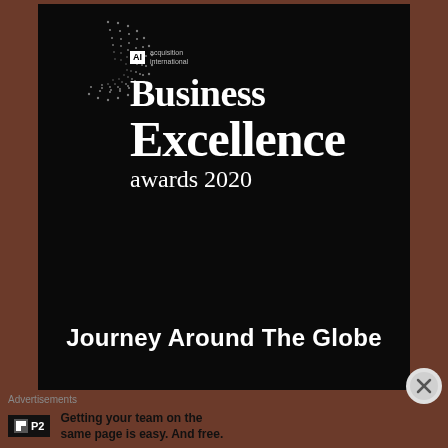[Figure (logo): AI Acquisition International Business Excellence Awards 2020 logo on black background with dotted circle design, with subtitle 'Journey Around The Globe']
Advertisements
[Figure (logo): P2 advertisement logo with text: Getting your team on the same page is easy. And free.]